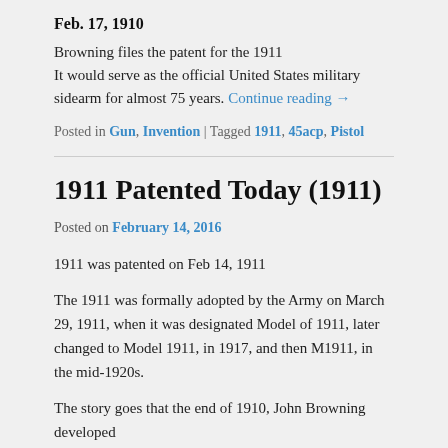Feb. 17, 1910
Browning files the patent for the 1911
It would serve as the official United States military sidearm for almost 75 years. Continue reading →
Posted in Gun, Invention | Tagged 1911, 45acp, Pistol
1911 Patented Today (1911)
Posted on February 14, 2016
1911 was patented on Feb 14, 1911
The 1911 was formally adopted by the Army on March 29, 1911, when it was designated Model of 1911, later changed to Model 1911, in 1917, and then M1911, in the mid-1920s.
The story goes that the end of 1910, John Browning developed...